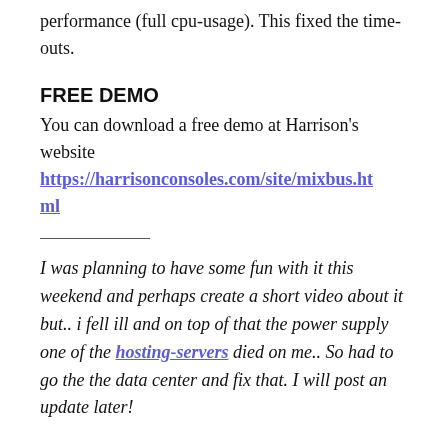performance (full cpu-usage). This fixed the time-outs.
FREE DEMO
You can download a free demo at Harrison's website https://harrisonconsoles.com/site/mixbus.html
I was planning to have some fun with it this weekend and perhaps create a short video about it but.. i fell ill and on top of that the power supply one of the hosting-servers died on me.. So had to go the the data center and fix that. I will post an update later!